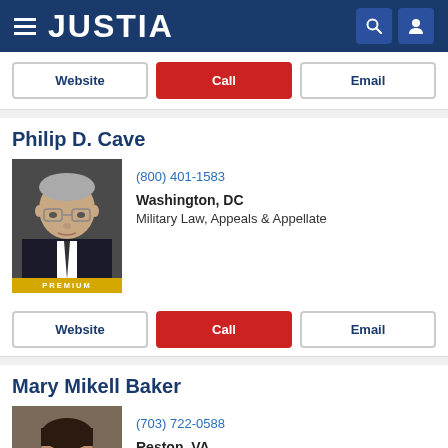JUSTIA
Website | Call | Email
Philip D. Cave
(800) 401-1583
Washington, DC
Military Law, Appeals & Appellate
[Figure (photo): Headshot of Philip D. Cave, an older man with gray hair, glasses, wearing a dark suit and tie, with a PREMIUM badge overlay]
Website | Call | Email
Mary Mikell Baker
(703) 722-0588
Reston, VA
Business Law, Employment Law, Trademarks
[Figure (photo): Headshot of Mary Mikell Baker, a woman with dark hair, smiling, wearing earrings]